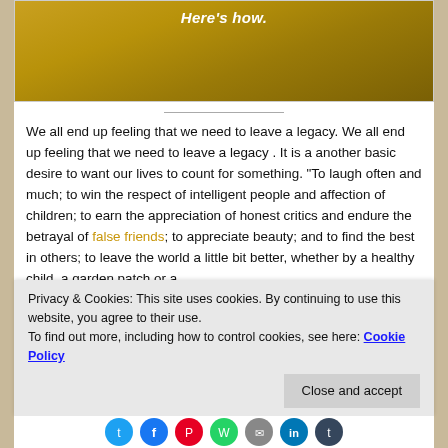[Figure (photo): Golden/amber colored image with italic text 'Here's how.' in white at the top]
We all end up feeling that we need to leave a legacy. We all end up feeling that we need to leave a legacy . It is a another basic desire to want our lives to count for something. “To laugh often and much; to win the respect of intelligent people and affection of children; to earn the appreciation of honest critics and endure the betrayal of false friends; to appreciate beauty; and to find the best in others; to leave the world a little bit better, whether by a healthy child, a garden patch or a
Privacy & Cookies: This site uses cookies. By continuing to use this website, you agree to their use.
To find out more, including how to control cookies, see here: Cookie Policy
Close and accept